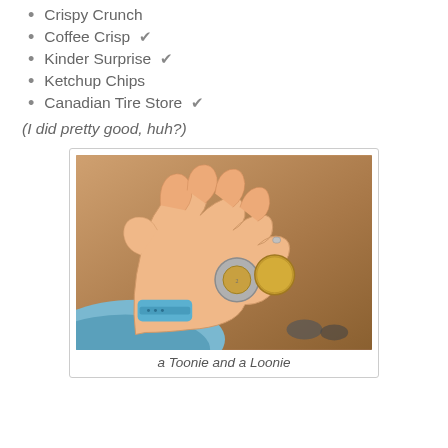Crispy Crunch
Coffee Crisp ✔
Kinder Surprise ✔
Ketchup Chips
Canadian Tire Store ✔
(I did pretty good, huh?)
[Figure (photo): A hand held open with palm up, displaying two Canadian coins — a Toonie (bimetallic) and a Loonie (gold-colored). The person is wearing a blue watch/fitness band on their wrist. Background shows sandy/dirt ground.]
a Toonie and a Loonie